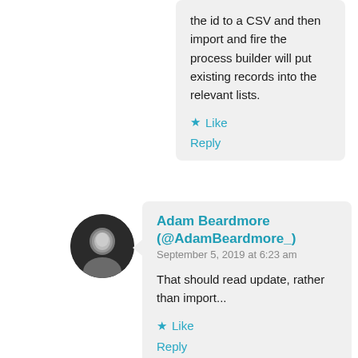the id to a CSV and then import and fire the process builder will put existing records into the relevant lists.
Like
Reply
Adam Beardmore (@AdamBeardmore_)
September 5, 2019 at 6:23 am
That should read update, rather than import...
Like
Reply